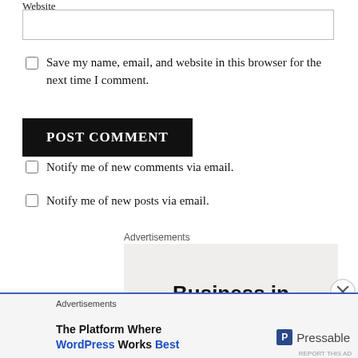Website
Save my name, email, and website in this browser for the next time I comment.
POST COMMENT
Notify me of new comments via email.
Notify me of new posts via email.
Advertisements
Business in
Advertisements
The Platform Where WordPress Works Best
Pressable
REPORT THIS AD